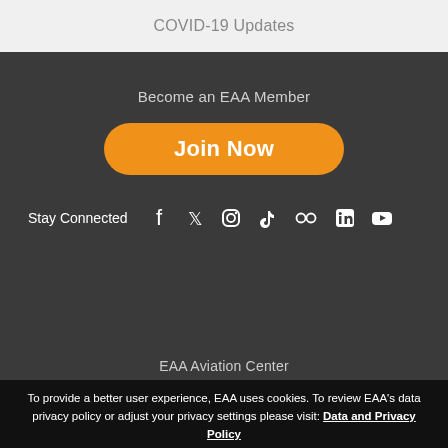COVID-19 Updates
Become an EAA Member
Join Now
Stay Connected
[Figure (other): Social media icons: Facebook, Twitter, Instagram, TikTok, Flickr, LinkedIn, YouTube]
EAA Aviation Center
To provide a better user experience, EAA uses cookies. To review EAA's data privacy policy or adjust your privacy settings please visit: Data and Privacy Policy
Dismiss